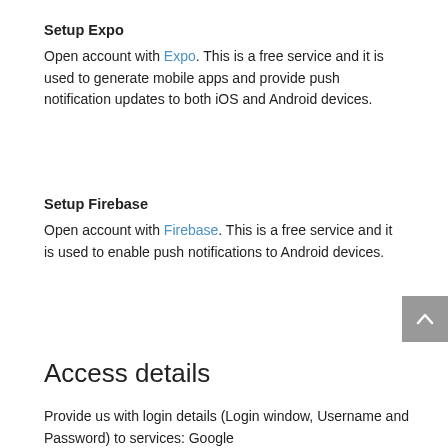Setup Expo
Open account with Expo. This is a free service and it is used to generate mobile apps and provide push notification updates to both iOS and Android devices.
Setup Firebase
Open account with Firebase. This is a free service and it is used to enable push notifications to Android devices.
Access details
Provide us with login details (Login window, Username and Password) to services: Google